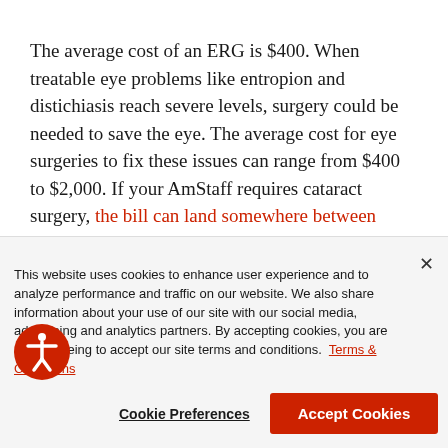The average cost of an ERG is $400. When treatable eye problems like entropion and distichiasis reach severe levels, surgery could be needed to save the eye. The average cost for eye surgeries to fix these issues can range from $400 to $2,000. If your AmStaff requires cataract surgery, the bill can land somewhere between $2,700 and $4,000. Pet insurance can help offset the costs of these
This website uses cookies to enhance user experience and to analyze performance and traffic on our website. We also share information about your use of our site with our social media, advertising and analytics partners. By accepting cookies, you are also agreeing to accept our site terms and conditions. Terms & Conditions
Cookie Preferences
Accept Cookies